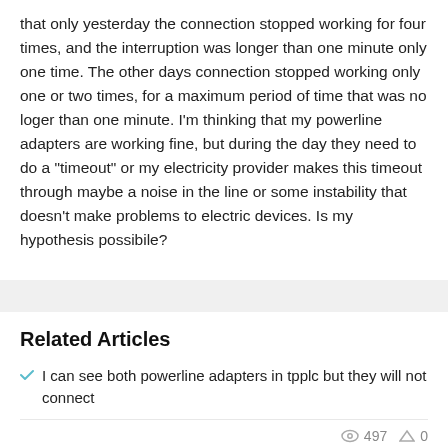that only yesterday the connection stopped working for four times, and the interruption was longer than one minute only one time. The other days connection stopped working only one or two times, for a maximum period of time that was no loger than one minute. I'm thinking that my powerline adapters are working fine, but during the day they need to do a "timeout" or my electricity provider makes this timeout through maybe a noise in the line or some instability that doesn't make problems to electric devices. Is my hypothesis possibile?
Related Articles
I can see both powerline adapters in tpplc but they will not connect